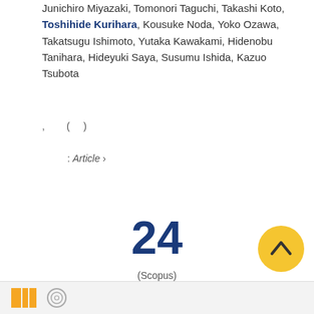Junichiro Miyazaki, Tomonori Taguchi, Takashi Koto, Toshihide Kurihara, Kousuke Noda, Yoko Ozawa, Takatsugu Ishimoto, Yutaka Kawakami, Hidenobu Tanihara, Hideyuki Saya, Susumu Ishida, Kazuo Tsubota
, ( )
: Article ›
24
(Scopus)
[Figure (infographic): Orange donut/ring badge with number 3 in center]
[Figure (infographic): Yellow circle scroll-to-top button with upward arrow]
Footer bar with logos